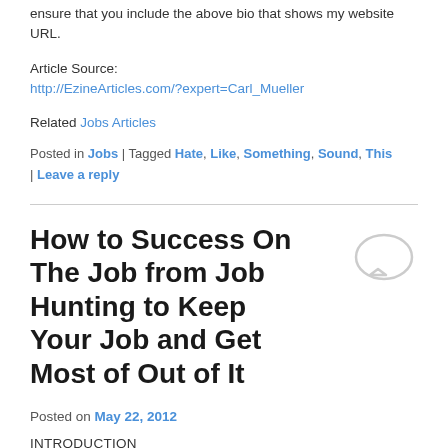ensure that you include the above bio that shows my website URL.
Article Source: http://EzineArticles.com/?expert=Carl_Mueller
Related Jobs Articles
Posted in Jobs | Tagged Hate, Like, Something, Sound, This | Leave a reply
How to Success On The Job from Job Hunting to Keep Your Job and Get Most of Out of It
Posted on May 22, 2012
INTRODUCTION